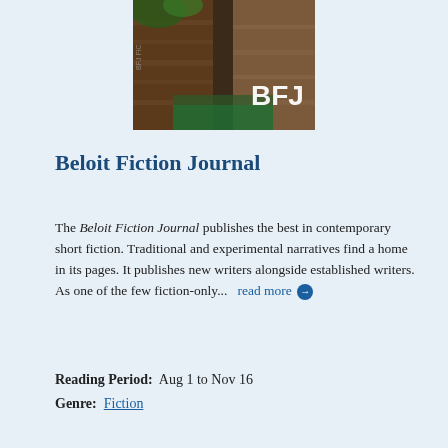[Figure (photo): Book cover of Beloit Fiction Journal showing rocky canyon landscape with 'BFJ' text overlay]
Beloit Fiction Journal
The Beloit Fiction Journal publishes the best in contemporary short fiction. Traditional and experimental narratives find a home in its pages. It publishes new writers alongside established writers. As one of the few fiction-only...  read more
Reading Period:  Aug 1 to Nov 16
Genre:  Fiction